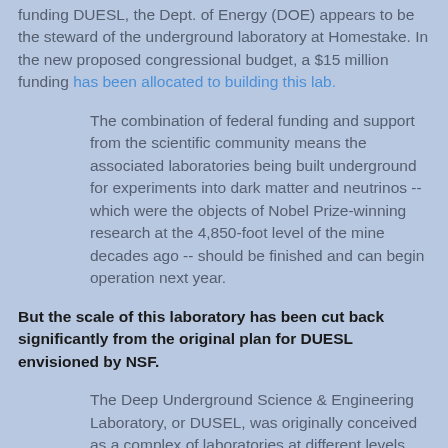funding DUESL, the Dept. of Energy (DOE) appears to be the steward of the underground laboratory at Homestake. In the new proposed congressional budget, a $15 million funding has been allocated to building this lab.
The combination of federal funding and support from the scientific community means the associated laboratories being built underground for experiments into dark matter and neutrinos -- which were the objects of Nobel Prize-winning research at the 4,850-foot level of the mine decades ago -- should be finished and can begin operation next year.
But the scale of this laboratory has been cut back significantly from the original plan for DUESL envisioned by NSF.
The Deep Underground Science & Engineering Laboratory, or DUSEL, was originally conceived as a complex of laboratories at different levels